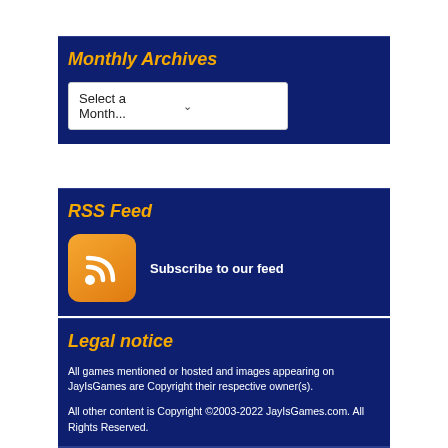editor.
Monthly Archives
[Figure (screenshot): Dropdown widget showing 'Select a Month...' with a chevron arrow]
RSS Feed
[Figure (logo): Orange rounded square RSS feed icon with white wifi/signal symbol]
Subscribe to our feed
Legal notice
All games mentioned or hosted and images appearing on JayIsGames are Copyright their respective owner(s).
All other content is Copyright ©2003-2022 JayIsGames.com. All Rights Reserved.